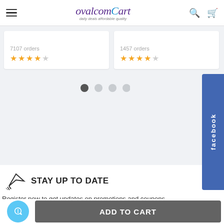ovalcomCart - daily deals affordable quality
7107 orders ★★★★☆
1457 orders ★★★★☆
STAY UP TO DATE
Register now to get updates on promotions and coupons.
Please enter your email
TOP
ADD TO CART